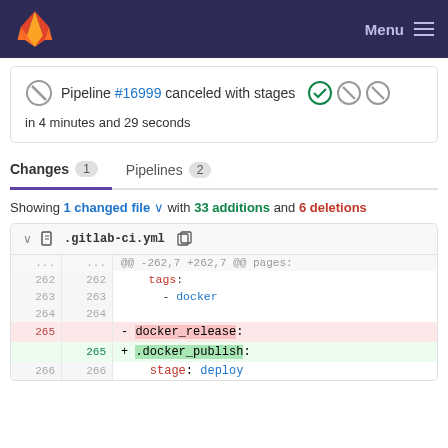GitLab — Menu
Pipeline #16999 canceled with stages in 4 minutes and 29 seconds
Changes 1   Pipelines 2
Showing 1 changed file with 33 additions and 6 deletions
.gitlab-ci.yml
| old line | new line | content |
| --- | --- | --- |
| ... | ... | @@ -262,7 +262,7 @@ pages: |
| 262 | 262 |     tags: |
| 263 | 263 |       - docker |
| 264 | 264 |  |
| 265 |  | - docker_release: |
|  | 265 | + .docker_publish: |
| 266 | 266 |     stage: deploy |